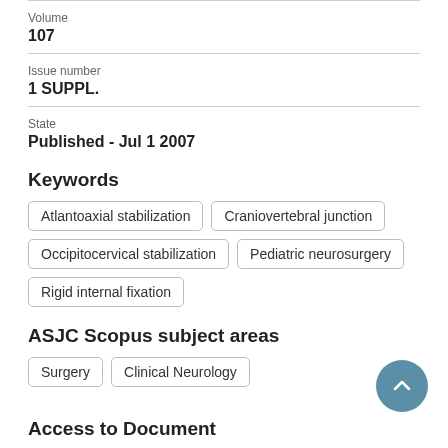Volume
107
Issue number
1 SUPPL.
State
Published - Jul 1 2007
Keywords
Atlantoaxial stabilization
Craniovertebral junction
Occipitocervical stabilization
Pediatric neurosurgery
Rigid internal fixation
ASJC Scopus subject areas
Surgery
Clinical Neurology
Access to Document